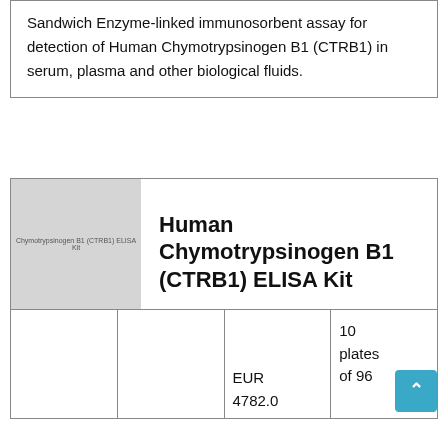Sandwich Enzyme-linked immunosorbent assay for detection of Human Chymotrypsinogen B1 (CTRB1) in serum, plasma and other biological fluids.
[Figure (photo): Product image placeholder showing 'Chymotrypsinogen B1 (CTRB1) ELISA Kit' label on gray background]
Human Chymotrypsinogen B1 (CTRB1) ELISA Kit
|  |  | EUR 4782.0 | 10 plates of 96 |
| --- | --- | --- | --- |
|  |